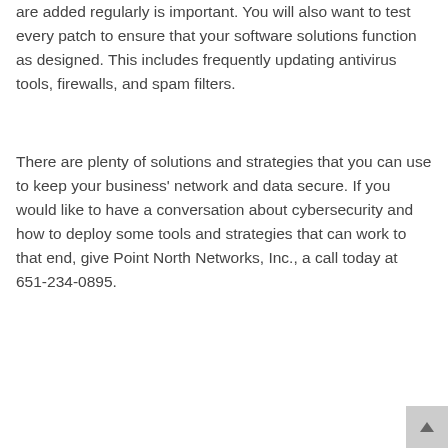are added regularly is important. You will also want to test every patch to ensure that your software solutions function as designed. This includes frequently updating antivirus tools, firewalls, and spam filters.
There are plenty of solutions and strategies that you can use to keep your business' network and data secure. If you would like to have a conversation about cybersecurity and how to deploy some tools and strategies that can work to that end, give Point North Networks, Inc., a call today at 651-234-0895.